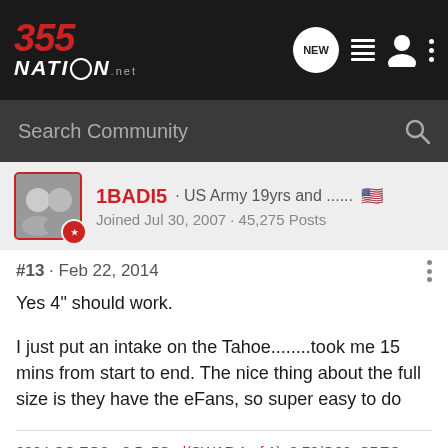355 Nation · Search Community
1BADI5 · US Army 19yrs and ...... Joined Jul 30, 2007 · 45,275 Posts
#13 · Feb 22, 2014
Yes 4" should work.

I just put an intake on the Tahoe........took me 15 mins from start to end. The nice thing about the full size is they have the eFans, so super easy to do
2004 CC ZQ8 - 3.5, 5Spd(SWAP 1 of 1), 3.73/G80, SPEC Stage 1 Clutch, Hurst Short throw, 93 tune, Dual Moshimoto Catch can set